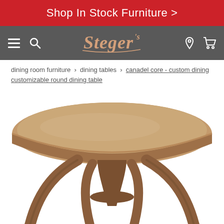Shop In Stock Furniture >
[Figure (logo): Steger's furniture store logo with hamburger menu, search icon, location pin, and cart icon on grey navigation bar]
dining room furniture > dining tables > canadel core - custom dining customizable round dining table
[Figure (photo): A round wooden dining table with an oval top in a medium brown finish, sitting on a curved decorative pedestal base with four curved legs meeting at a central post, photographed against a white background.]